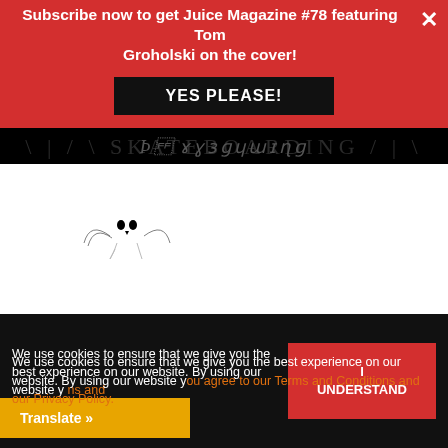Subscribe now to get Juice Magazine #78 featuring Tom Groholski on the cover!
YES PLEASE!
[Figure (logo): Decorative gothic/ornamental text strip in dark on black background]
[Figure (logo): Loud Ones In The Van logo with skull mascot and white text]
SOCIAL
[Figure (infographic): Four social media icon boxes: Facebook, Twitter, YouTube, Instagram - white squares with black icons]
NEWSLETTER
We use cookies to ensure that we give you the best experience on our website. By using our website y... ns and c... icy Policy.
I UNDERSTAND
Translate »